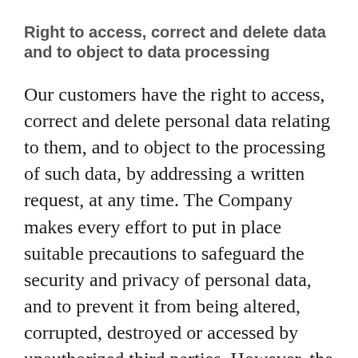Right to access, correct and delete data and to object to data processing
Our customers have the right to access, correct and delete personal data relating to them, and to object to the processing of such data, by addressing a written request, at any time. The Company makes every effort to put in place suitable precautions to safeguard the security and privacy of personal data, and to prevent it from being altered, corrupted, destroyed or accessed by unauthorized third parties. However, the Company does not control